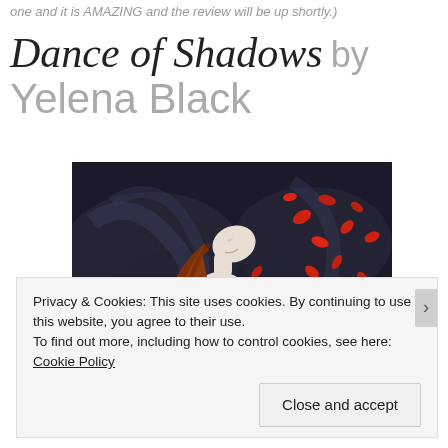one and it is AMAZING and the review will be up shortly.)
Dance of Shadows by Yelena Black
[Figure (illustration): Book cover for Dance of Shadows: a woman with long red hair tilting her head back, white skin, surrounded by red rose petals swirling around her against a dark smoky background.]
Privacy & Cookies: This site uses cookies. By continuing to use this website, you agree to their use.
To find out more, including how to control cookies, see here: Cookie Policy
Close and accept